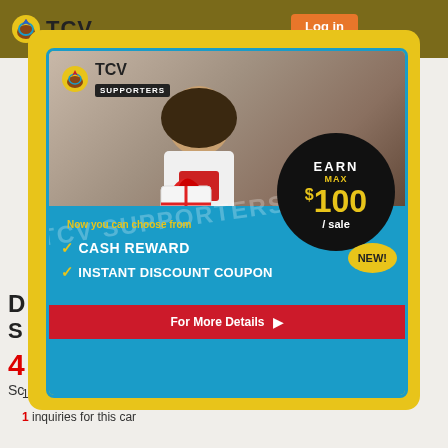[Figure (screenshot): TCV website screenshot with modal popup advertisement for TCV Supporters program showing a person smiling holding a gift box with red bow, advertising 'EARN MAX $100 / sale', 'Now you can choose from CASH REWARD and INSTANT DISCOUNT COUPON', with yellow NEW! bubble and red 'For More Details' button. Background shows TCV header with logo and login button. Bottom shows car listing detail '123,847km / 660cc / - / AT' and '1 inquiries for this car'.]
123,847km / 660cc / - / AT
1 inquiries for this car